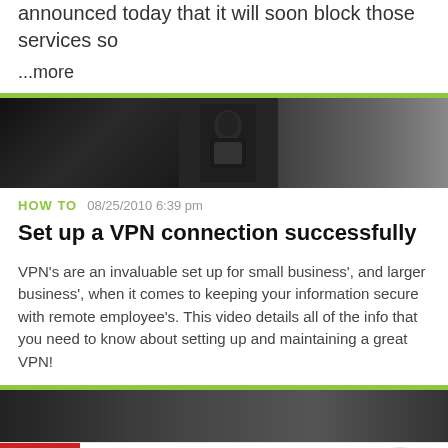announced today that it will soon block those services so
...more
[Figure (photo): Three-panel dark photograph showing figures with a masked person at a laptop in the center panel]
HOW TO   08/25/2010 6:39 pm
Set up a VPN connection successfully
VPN's are an invaluable set up for small business', and larger business', when it comes to keeping your information secure with remote employee's. This video details all of the info that you need to know about setting up and maintaining a great VPN!
[Figure (photo): Dark photo of person using a device, partially shown at the bottom of the page]
[Figure (other): Advertisement banner for Official NFL Gear showing 50% OFF red box, ad title, description, URL, and a blue circular arrow button]